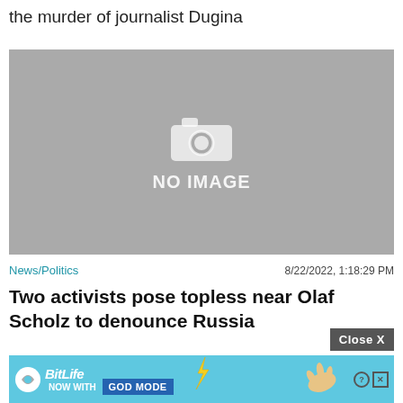the murder of journalist Dugina
[Figure (photo): Placeholder image with camera icon and 'NO IMAGE' text on grey background]
News/Politics    8/22/2022, 1:18:29 PM
Two activists pose topless near Olaf Scholz to denounce Russia
[Figure (screenshot): BitLife advertisement banner: 'NOW WITH GOD MODE' on blue background with hand pointing graphic, help and close icons]
Close X